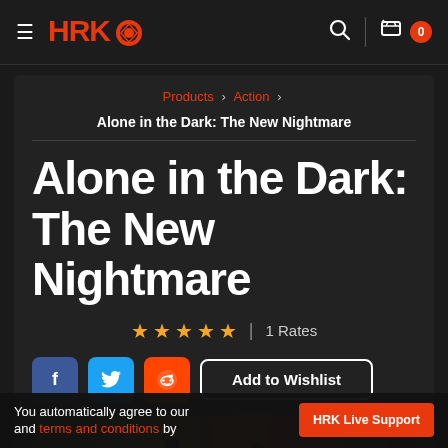HRK Game store navigation bar with logo, search, cart (0 items)
Products > Action >
Alone in the Dark: The New Nightmare
Alone in the Dark: The New Nightmare
★★★★★ | 1 Rates
Add to Wishlist
[Figure (screenshot): Game cover art for Alone in the Dark: The New Nightmare showing dark atmospheric scene]
You automatically agree to our and terms and conditions by